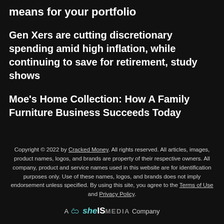means for your portfolio
Gen Xers are cutting discretionary spending amid high inflation, while continuing to save for retirement, study shows
Moe's Home Collection: How A Family Furniture Business Succeeds Today
Copyright © 2022 by Cracked Money. All rights reserved. All articles, images, product names, logos, and brands are property of their respective owners. All company, product and service names used in this website are for identification purposes only. Use of these names, logos, and brands does not imply endorsement unless specified. By using this site, you agree to the Terms of Use and Privacy Policy.
A SheIS MEDIA Company